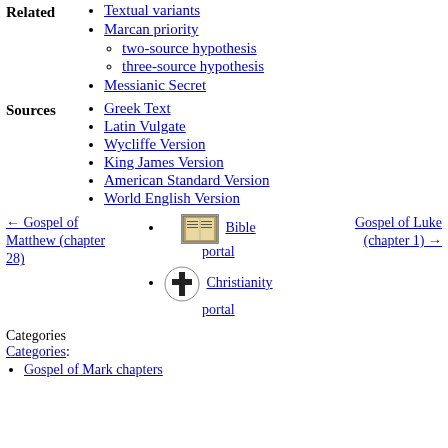Related
Textual variants
Marcan priority
two-source hypothesis
three-source hypothesis
Messianic Secret
Sources
Greek Text
Latin Vulgate
Wycliffe Version
King James Version
American Standard Version
World English Version
Bible portal
Christianity portal
← Gospel of Matthew (chapter 28)
Gospel of Luke (chapter 1) →
Categories
Categories:
Gospel of Mark chapters